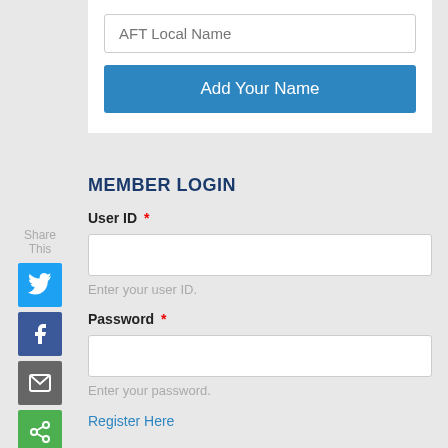[Figure (screenshot): AFT Local Name input field with placeholder text 'AFT Local Name']
Add Your Name
MEMBER LOGIN
User ID *
Enter your user ID.
Password *
Enter your password.
Register Here
Share This
[Figure (logo): Twitter share icon — blue square with white bird]
[Figure (logo): Facebook share icon — dark blue square with white f]
[Figure (logo): Email share icon — dark grey square with white envelope]
[Figure (logo): Share icon — green square with white share symbol]